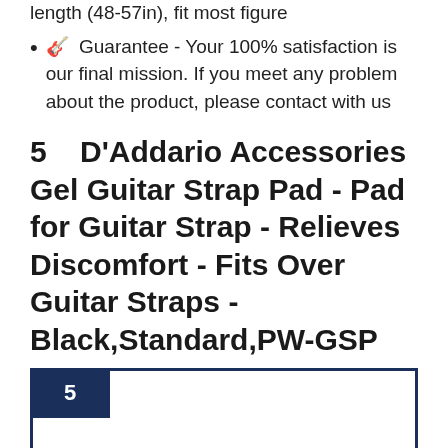length (48-57in), fit most figure
🎸 Guarantee - Your 100% satisfaction is our final mission. If you meet any problem about the product, please contact with us
5    D'Addario Accessories Gel Guitar Strap Pad - Pad for Guitar Strap - Relieves Discomfort - Fits Over Guitar Straps - Black,Standard,PW-GSP
[Figure (other): Product listing image box with number badge '5' in dark navy, bordered rectangle placeholder for product image]